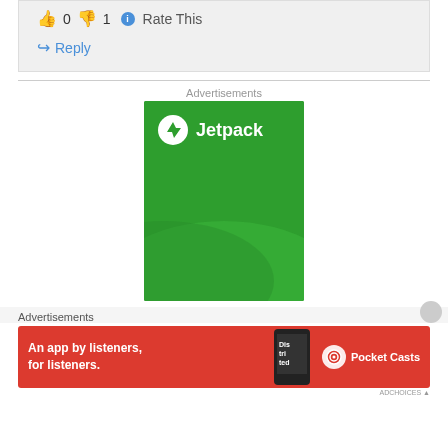👍 0 👎 1 ℹ Rate This
↪ Reply
Advertisements
[Figure (illustration): Jetpack advertisement banner with green background, Jetpack logo (white circle with lightning bolt) and 'Jetpack' text in white, with decorative wave pattern]
Advertisements
[Figure (illustration): Pocket Casts advertisement: red banner with white text 'An app by listeners, for listeners.' with phone image and Pocket Casts logo]